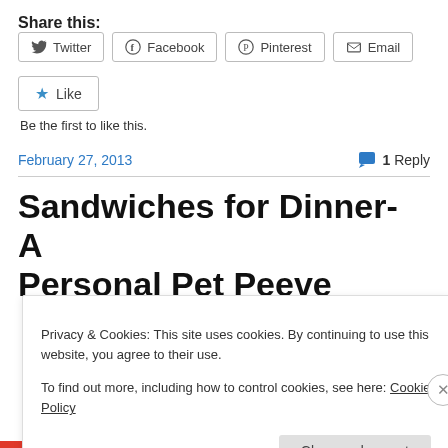Share this:
Twitter  Facebook  Pinterest  Email
Like
Be the first to like this.
February 27, 2013   1 Reply
Sandwiches for Dinner- A Personal Pet Peeve
Privacy & Cookies: This site uses cookies. By continuing to use this website, you agree to their use.
To find out more, including how to control cookies, see here: Cookie Policy
Close and accept